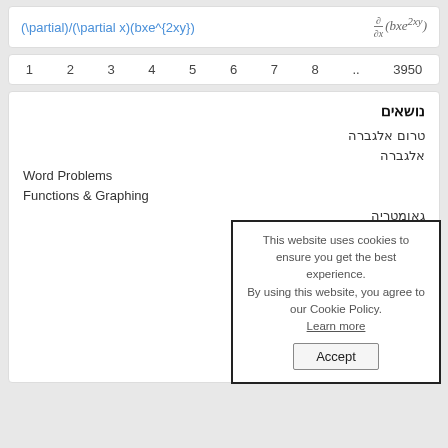(\partial)/(\partial x)(bxe^{2xy})
1  2  3  4  5  6  7  8  ..  3950
נושאים
טרום אלגברה
אלגברה
Word Problems
Functions & Graphing
גאומטריה
טריגונומטריה
טרום חשבון אינפיטיסמלי
חשבון אינפיטיסמלי
סטטיסטיקה
This website uses cookies to ensure you get the best experience. By using this website, you agree to our Cookie Policy. Learn more
Accept